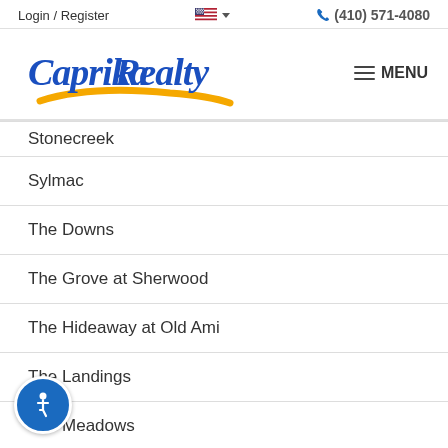Login / Register   (410) 571-4080
[Figure (logo): Caprika Realty logo with blue script text and gold swoosh, alongside a hamburger menu icon and MENU text]
Stonecreek (partially visible)
Sylmac
The Downs
The Grove at Sherwood
The Hideaway at Old Ami
The Landings
The Meadows
The Overlook Broad Creek